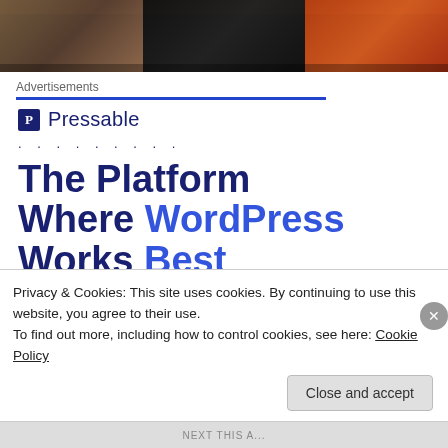[Figure (photo): Cropped top photo showing tools including what appears to be a tool belt or workshop area with orange and dark colored tools/equipment]
Advertisements
[Figure (logo): Pressable logo: dark blue square with P icon followed by 'Pressable' text, with a row of dots below]
The Platform Where WordPress Works Best
SEE PRICING
Privacy & Cookies: This site uses cookies. By continuing to use this website, you agree to their use.
To find out more, including how to control cookies, see here: Cookie Policy
Close and accept